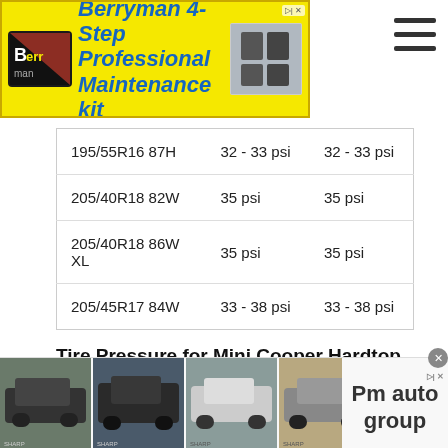[Figure (other): Berryman 4-Step Professional Maintenance kit advertisement banner with yellow background and blue bold text]
| 195/55R16 87H | 32 - 33 psi | 32 - 33 psi |
| 205/40R18 82W | 35 psi | 35 psi |
| 205/40R18 86W XL | 35 psi | 35 psi |
| 205/45R17 84W | 33 - 38 psi | 33 - 38 psi |
Tire Pressure for Mini Cooper Hardtop
Recommended tire inflation for Mini Cooper Hardtop is 32 psi to 39 psi for front tires and 32 psi to 38 psi for rear tires.
[Figure (other): Bottom advertisement banner showing car images and Pm auto group text]